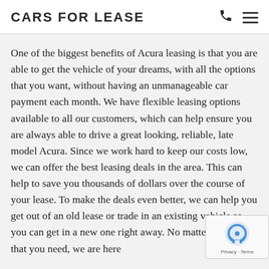CARS FOR LEASE
One of the biggest benefits of Acura leasing is that you are able to get the vehicle of your dreams, with all the options that you want, without having an unmanageable car payment each month. We have flexible leasing options available to all our customers, which can help ensure you are always able to drive a great looking, reliable, late model Acura. Since we work hard to keep our costs low, we can offer the best leasing deals in the area. This can help to save you thousands of dollars over the course of your lease. To make the deals even better, we can help you get out of an old lease or trade in an existing vehicle so you can get in a new one right away. No matter what it is that you need, we are here